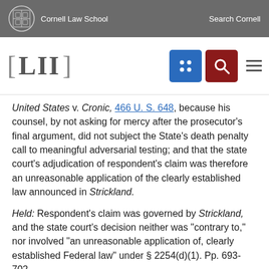Cornell Law School | Search Cornell
LII [Legal Information Institute navigation]
United States v. Cronic, 466 U. S. 648, because his counsel, by not asking for mercy after the prosecutor's final argument, did not subject the State's death penalty call to meaningful adversarial testing; and that the state court's adjudication of respondent's claim was therefore an unreasonable application of the clearly established law announced in Strickland.
Held: Respondent's claim was governed by Strickland, and the state court's decision neither was "contrary to," nor involved "an unreasonable application of, clearly established Federal law" under § 2254(d)(1). Pp. 693-702.
(a) Section 2254(d)(1)'s "contrary to" and